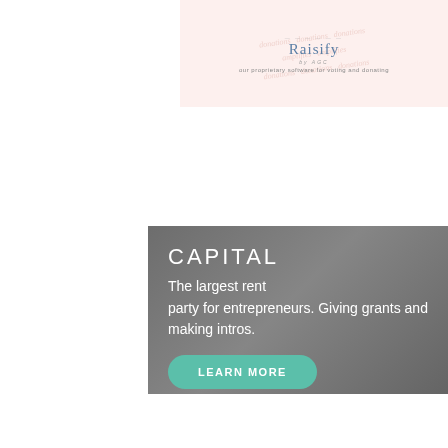[Figure (logo): Raisify logo with tagline 'our proprietary software for voting and donating' on a light pink/peach background with watermark text]
[Figure (infographic): Dark gray overlay banner with white text: CAPITAL heading, 'The largest rent party for entrepreneurs. Giving grants and making intros.' and a teal LEARN MORE button]
[Figure (infographic): Dark gray overlay banner with white text: CAPACITY heading, 'Intense short-term engagements including coaching & bootcamps.' and a teal LEARN MORE button, with a blue circle dots button in lower right]